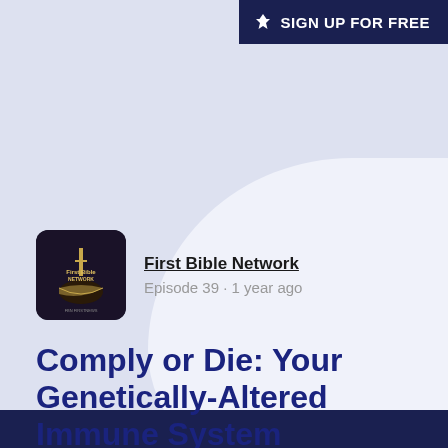[Figure (screenshot): Sign up for free button in dark navy with Substack logo icon in top right corner]
[Figure (logo): First Bible Network podcast thumbnail — dark background with candlestick, open bible, and network logo text]
First Bible Network
Episode 39 · 1 year ago
Comply or Die: Your Genetically-Altered Immune System Dependent on Booster Shots